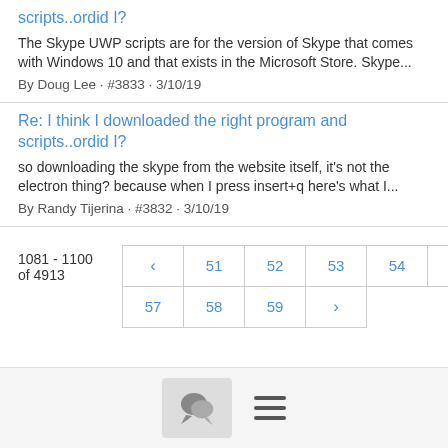scripts..ordid I?
The Skype UWP scripts are for the version of Skype that comes with Windows 10 and that exists in the Microsoft Store. Skype...
By Doug Lee · #3833 · 3/10/19
Re: I think I downloaded the right program and scripts..ordid I?
so downloading the skype from the website itself, it's not the electron thing? because when I press insert+q here's what I...
By Randy Tijerina · #3832 · 3/10/19
1081 - 1100 of 4913
[Figure (other): Pagination control with page numbers: < 51 52 53 54 55 56 / 57 58 59 >. Current page is 55 (bold).]
[Figure (other): Footer bar with chat bubble icon and hamburger menu icon]